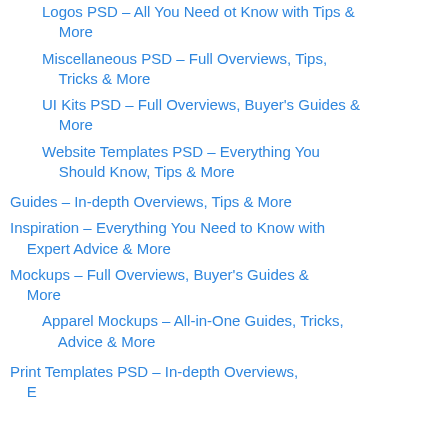Logos PSD – All You Need ot Know with Tips & More
Miscellaneous PSD – Full Overviews, Tips, Tricks & More
UI Kits PSD – Full Overviews, Buyer's Guides & More
Website Templates PSD – Everything You Should Know, Tips & More
Guides – In-depth Overviews, Tips & More
Inspiration – Everything You Need to Know with Expert Advice & More
Mockups – Full Overviews, Buyer's Guides & More
Apparel Mockups – All-in-One Guides, Tricks, Advice & More
Print Templates PSD – In-depth Overviews, Expert Advice & More